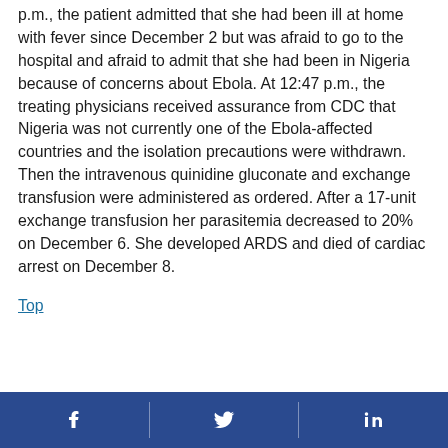p.m., the patient admitted that she had been ill at home with fever since December 2 but was afraid to go to the hospital and afraid to admit that she had been in Nigeria because of concerns about Ebola. At 12:47 p.m., the treating physicians received assurance from CDC that Nigeria was not currently one of the Ebola-affected countries and the isolation precautions were withdrawn. Then the intravenous quinidine gluconate and exchange transfusion were administered as ordered. After a 17-unit exchange transfusion her parasitemia decreased to 20% on December 6. She developed ARDS and died of cardiac arrest on December 8.
Top
Social media share icons: Facebook, Twitter, LinkedIn